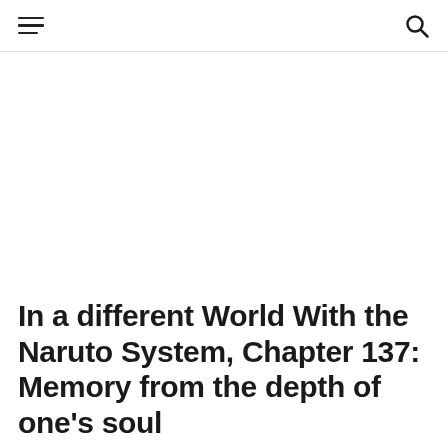≡  🔍
In a different World With the Naruto System, Chapter 137: Memory from the depth of one's soul